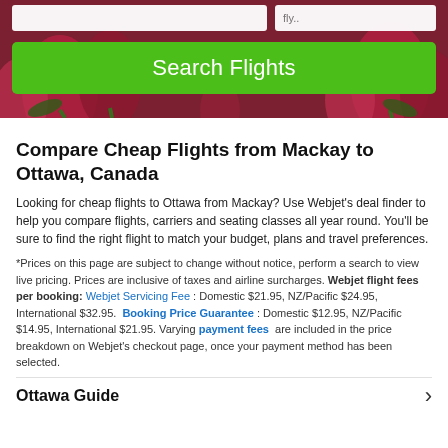[Figure (screenshot): Hero image showing a green 'Search Flights' button over a floral background with red tulips. Two white input boxes are visible at the top.]
Compare Cheap Flights from Mackay to Ottawa, Canada
Looking for cheap flights to Ottawa from Mackay? Use Webjet's deal finder to help you compare flights, carriers and seating classes all year round. You'll be sure to find the right flight to match your budget, plans and travel preferences.
*Prices on this page are subject to change without notice, perform a search to view live pricing. Prices are inclusive of taxes and airline surcharges. Webjet flight fees per booking: Webjet Servicing Fee: Domestic $21.95, NZ/Pacific $24.95, International $32.95. Booking Price Guarantee: Domestic $12.95, NZ/Pacific $14.95, International $21.95. Varying payment fees are included in the price breakdown on Webjet's checkout page, once your payment method has been selected.
Ottawa Guide